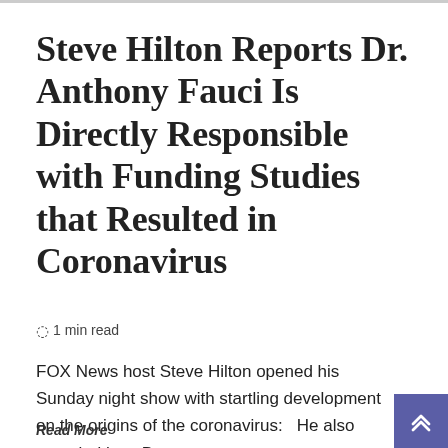Steve Hilton Reports Dr. Anthony Fauci Is Directly Responsible with Funding Studies that Resulted in Coronavirus
1 min read
FOX News host Steve Hilton opened his Sunday night show with startling development on the origins of the coronavirus:   He also revealed how Dr.
Read More